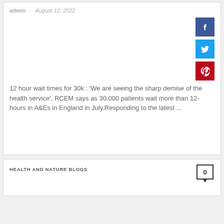admin · August 12, 2022
[Figure (illustration): Social media sharing icons: Facebook (blue), Twitter (light blue), Pinterest (red)]
12 hour wait times for 30k : 'We are seeing the sharp demise of the health service', RCEM says as 30,000 patients wait more than 12-hours in A&Es in England in July.Responding to the latest ...
HEALTH AND NATURE BLOGS